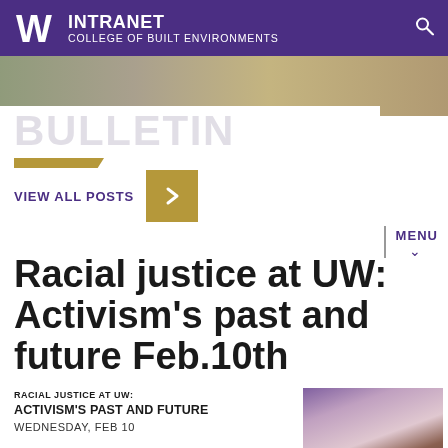INTRANET — COLLEGE OF BUILT ENVIRONMENTS
[Figure (photo): Hero photo strip showing a building exterior]
BULLETIN
VIEW ALL POSTS
MENU
Racial justice at UW: Activism's past and future Feb.10th
RACIAL JUSTICE AT UW: ACTIVISM'S PAST AND FUTURE
WEDNESDAY, FEB 10
[Figure (photo): Portrait photo of a speaker, a bald Black man in a suit]